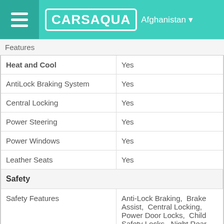CARSAQUA Afghanistan
Features
| Heat and Cool | Yes |
| AntiLock Braking System | Yes |
| Central Locking | Yes |
| Power Steering | Yes |
| Power Windows | Yes |
| Leather Seats | Yes |
| Safety |  |
| Safety Features | Anti-Lock Braking,  Brake Assist,  Central Locking,  Power Door Locks,  Child Safety Locks,  Night Rear View Mirror,  Rear Seat Belts,  Seat Belt Warning,  Door Ajar Warning,  Adjustable Seats,  Keyless Entry |